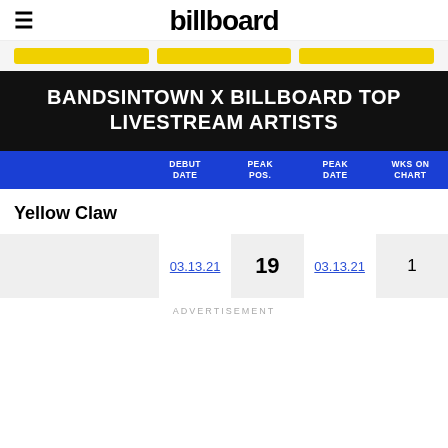billboard
BANDSINTOWN X BILLBOARD TOP LIVESTREAM ARTISTS
|  | DEBUT DATE | PEAK POS. | PEAK DATE | WKS ON CHART |
| --- | --- | --- | --- | --- |
| Yellow Claw | 03.13.21 | 19 | 03.13.21 | 1 |
ADVERTISEMENT